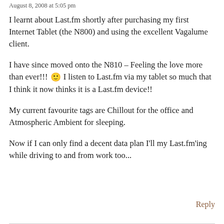August 8, 2008 at 5:05 pm
I learnt about Last.fm shortly after purchasing my first Internet Tablet (the N800) and using the excellent Vagalume client.

I have since moved onto the N810 – Feeling the love more than ever!!! 🙂 I listen to Last.fm via my tablet so much that I think it now thinks it is a Last.fm device!!

My current favourite tags are Chillout for the office and Atmospheric Ambient for sleeping.

Now if I can only find a decent data plan I'll my Last.fm'ing while driving to and from work too...
Reply